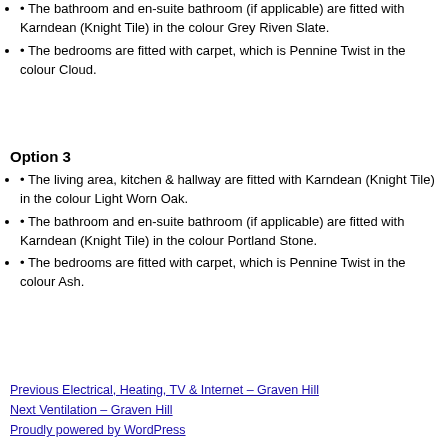• The bathroom and en-suite bathroom (if applicable) are fitted with Karndean (Knight Tile) in the colour Grey Riven Slate.
• The bedrooms are fitted with carpet, which is Pennine Twist in the colour Cloud.
Option 3
• The living area, kitchen & hallway are fitted with Karndean (Knight Tile) in the colour Light Worn Oak.
• The bathroom and en-suite bathroom (if applicable) are fitted with Karndean (Knight Tile) in the colour Portland Stone.
• The bedrooms are fitted with carpet, which is Pennine Twist in the colour Ash.
Previous Electrical, Heating, TV & Internet – Graven Hill
Next Ventilation – Graven Hill
Proudly powered by WordPress